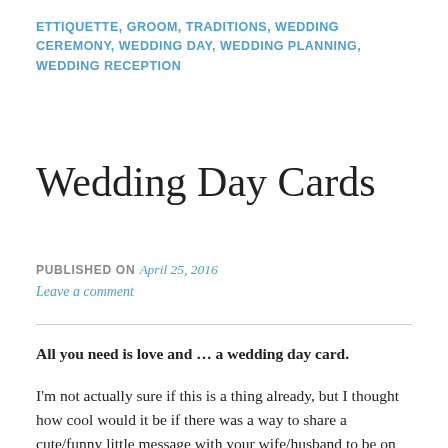ETTIQUETTE, GROOM, TRADITIONS, WEDDING CEREMONY, WEDDING DAY, WEDDING PLANNING, WEDDING RECEPTION
Wedding Day Cards
PUBLISHED ON April 25, 2016
Leave a comment
All you need is love and … a wedding day card.
I'm not actually sure if this is a thing already, but I thought how cool would it be if there was a way to share a cute/funny little message with your wife/husband to be on the morning of your wedding, just a small way to